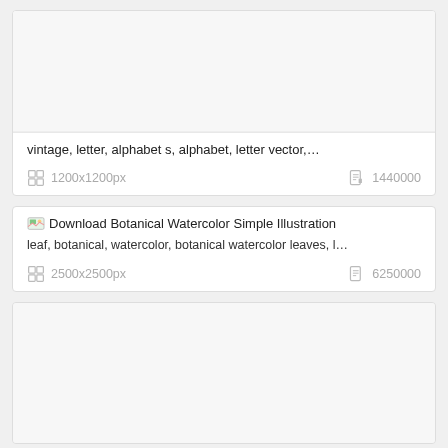[Figure (screenshot): Card 1: image placeholder (white/light gray area), title text 'vintage, letter, alphabet s, alphabet, letter vector,...', dimensions 1200x1200px, file size 1440000]
[Figure (screenshot): Card 2: Download Botanical Watercolor Simple Illustration, leaf botanical watercolor description, dimensions 2500x2500px, file size 6250000]
[Figure (screenshot): Card 3: image placeholder (white/light gray area, mostly empty)]